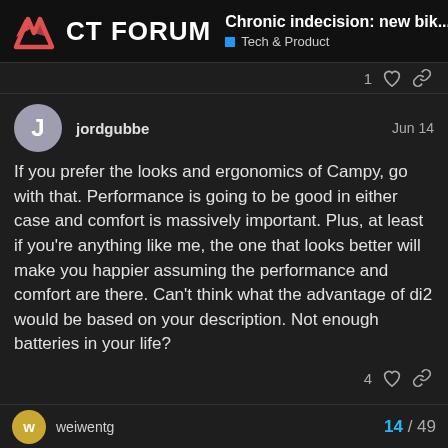CT FORUM — Chronic indecision: new bik... / Tech & Product
jordgubbe  Jun 14
If you prefer the looks and ergonomics of Campy, go with that. Performance is going to be good in either case and comfort is massively important. Plus, at least if you're anything like me, the one that looks better will make you happier assuming the performance and comfort are there. Can't think what the advantage of di2 would be based on your description. Not enough batteries in your life?
weiwentg   14 / 49